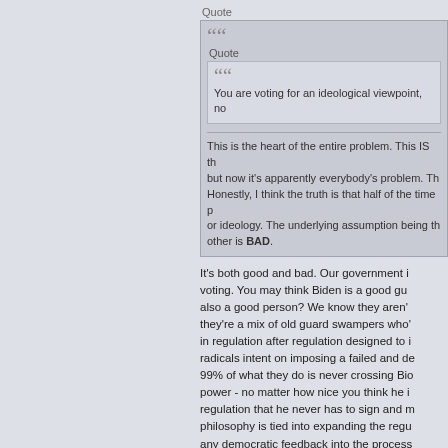Quote
Quote
You are voting for an ideological viewpoint, no
This is the heart of the entire problem. This IS th but now it's apparently everybody's problem. Th Honestly, I think the truth is that half of the time p or ideology. The underlying assumption being th other is BAD.
It's both good and bad. Our government i voting. You may think Biden is a good gu also a good person? We know they aren' they're a mix of old guard swampers who' in regulation after regulation designed to i radicals intent on imposing a failed and de 99% of what they do is never crossing Bio power - no matter how nice you think he i regulation that he never has to sign and m philosophy is tied into expanding the regu any democratic feedback into the process with a director accountable to no one at a enforce them with an unlimited budget an ability to anything Th